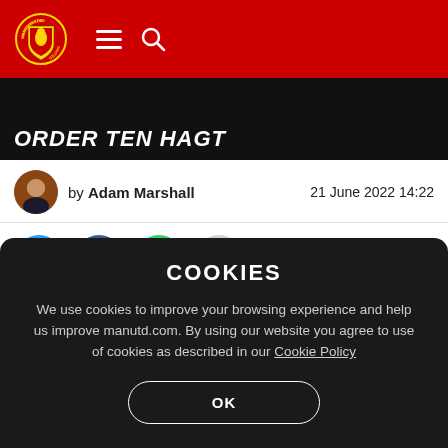Manchester United navigation header with logo, hamburger menu, and search icon
[Figure (screenshot): Manchester United article hero image strip showing partial text 'ORDER TEN HAGT' or similar on dark background]
by Adam Marshall    21 June 2022 14:22
[Figure (infographic): Social sharing buttons: Twitter (blue), Facebook (dark blue), WhatsApp (green), More (grey dots)]
COOKIES
We use cookies to improve your browsing experience and help us improve manutd.com. By using our website you agree to use of cookies as described in our Cookie Policy
OK